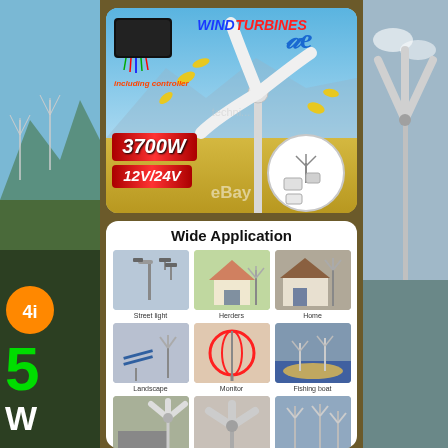[Figure (photo): Left side panel showing landscape with wind turbines, green number 5, letter W, and orange badge with 4]
[Figure (photo): Right side panel showing wind turbine installation]
[Figure (infographic): Wind turbine product listing image showing 3700W 12V/24V wind turbine with controller, blue sky background, including controller text, ae logo, eBay watermark]
[Figure (infographic): Wide Application grid showing 6+ application photos: Street light, Herders, Home, Landscape, Monitor, Fishing boat, and 3 more at bottom]